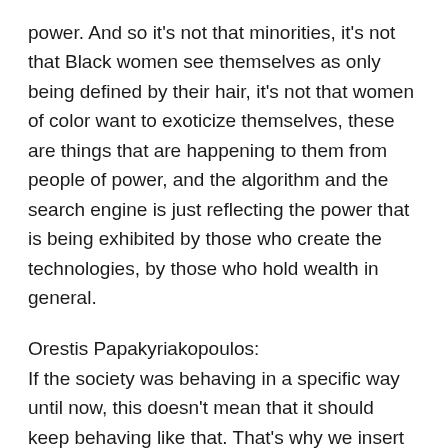power. And so it's not that minorities, it's not that Black women see themselves as only being defined by their hair, it's not that women of color want to exoticize themselves, these are things that are happening to them from people of power, and the algorithm and the search engine is just reflecting the power that is being exhibited by those who create the technologies, by those who hold wealth in general.
Orestis Papakyriakopoulos:
If the society was behaving in a specific way until now, this doesn't mean that it should keep behaving like that. That's why we insert regulation. That's why we discuss about all these things to change them and search engines and these algorithms bring the opportunity or the privilege that we can really shape